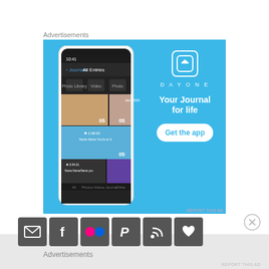Advertisements
[Figure (screenshot): DayOne app advertisement on a light blue background showing a smartphone with journal entries and text 'Your Journal for life' with a 'Get the app' button]
REPORT THIS AD
[Figure (infographic): Row of social media icon buttons: email, Facebook, Flickr, Pinterest, RSS feed, heart/favorite — all on dark grey square backgrounds]
Advertisements
REPORT THIS AD